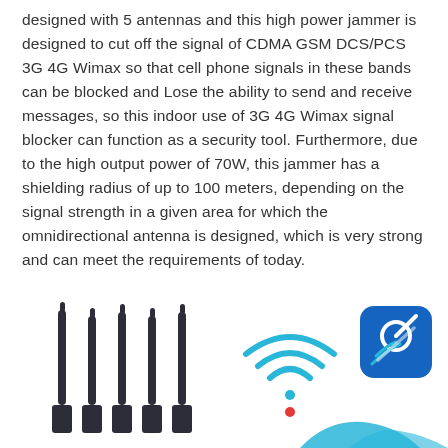designed with 5 antennas and this high power jammer is designed to cut off the signal of CDMA GSM DCS/PCS 3G 4G Wimax so that cell phone signals in these bands can be blocked and Lose the ability to send and receive messages, so this indoor use of 3G 4G Wimax signal blocker can function as a security tool. Furthermore, due to the high output power of 70W, this jammer has a shielding radius of up to 100 meters, depending on the signal strength in a given area for which the omnidirectional antenna is designed, which is very strong and can meet the requirements of today.
[Figure (illustration): Product illustration showing 5 black antennas on the left side, a WiFi signal icon in the center-right, a blue rounded square satellite/signal blocker icon on the right, and partially visible wave/signal icons at the bottom right.]